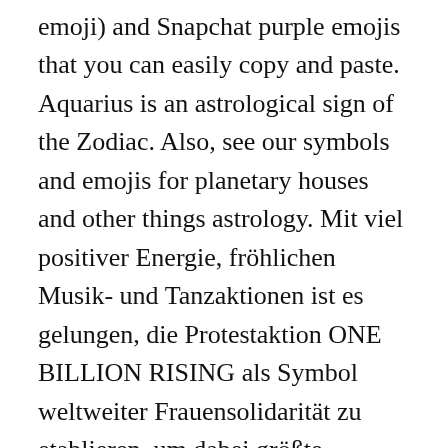emoji) and Snapchat purple emojis that you can easily copy and paste. Aquarius is an astrological sign of the Zodiac. Also, see our symbols and emojis for planetary houses and other things astrology. Mit viel positiver Energie, fröhlichen Musik- und Tanzaktionen ist es gelungen, die Protestaktion ONE BILLION RISING als Symbol weltweiter Frauensolidarität zu etablieren, um dabei größte Aufmerksamkeit auf schwierge Themen zu lenken, die in der Vielzahl von Redebeiträgen auf ... Tip: Copy and paste the text versions above and save them in your notes. See our contents table to quickly navigate to the correct section. This represents the traits of balance and fairness. * / *_*